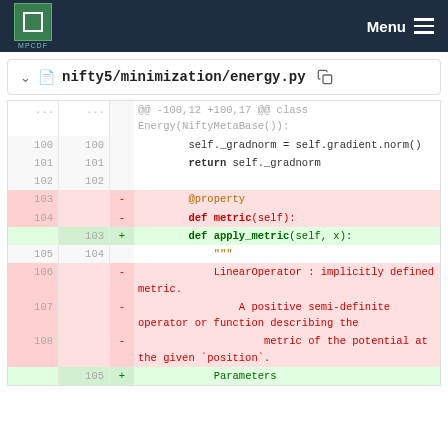MPCDF   Menu
nifty5/minimization/energy.py
[Figure (screenshot): Git diff view of nifty5/minimization/energy.py showing code changes around lines 100-108. Removed lines (red background): @property decorator, def metric(self). Added line (green background): def apply_metric(self, x). Context lines show self._gradnorm = self.gradient.norm(), return self._gradnorm, and docstring lines about LinearOperator, positive semi-definite operator, and metric of the potential.]